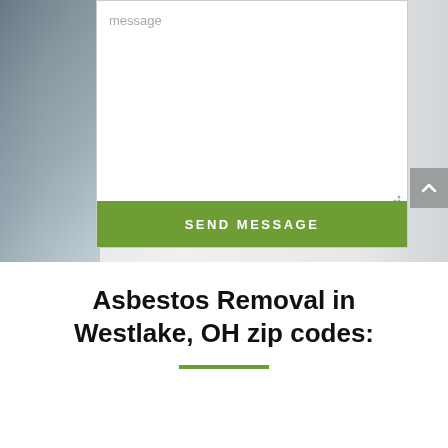[Figure (screenshot): Contact form textarea with 'message' placeholder text and a green 'SEND MESSAGE' button, overlaid on a blurred background photo showing denim clothing.]
Asbestos Removal in Westlake, OH zip codes: